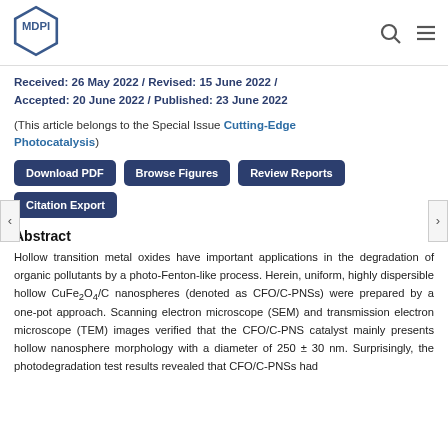MDPI
Received: 26 May 2022 / Revised: 15 June 2022 / Accepted: 20 June 2022 / Published: 23 June 2022
(This article belongs to the Special Issue Cutting-Edge Photocatalysis)
Download PDF | Browse Figures | Review Reports | Citation Export
Abstract
Hollow transition metal oxides have important applications in the degradation of organic pollutants by a photo-Fenton-like process. Herein, uniform, highly dispersible hollow CuFe2O4/C nanospheres (denoted as CFO/C-PNSs) were prepared by a one-pot approach. Scanning electron microscope (SEM) and transmission electron microscope (TEM) images verified that the CFO/C-PNS catalyst mainly presents hollow nanosphere morphology with a diameter of 250 ± 30 nm. Surprisingly, the photodegradation test results revealed that CFO/C-PNSs had